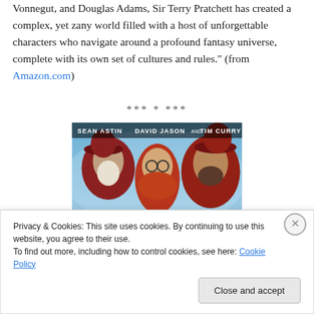Vonnegut, and Douglas Adams, Sir Terry Pratchett has created a complex, yet zany world filled with a host of unforgettable characters who navigate around a profound fantasy universe, complete with its own set of cultures and rules." (from Amazon.com)
*** * ***
[Figure (photo): Movie poster or promotional image showing three actors: Sean Astin, David Jason, and Tim Curry, wearing fantasy/medieval costumes with red hats against a blue background.]
Privacy & Cookies: This site uses cookies. By continuing to use this website, you agree to their use.
To find out more, including how to control cookies, see here: Cookie Policy